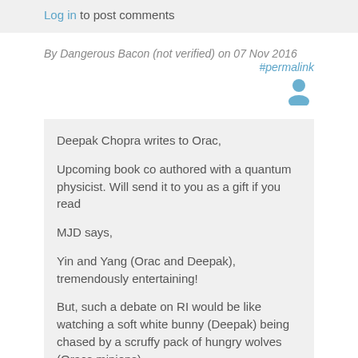Log in to post comments
By Dangerous Bacon (not verified) on 07 Nov 2016
#permalink
[Figure (illustration): User avatar icon in blue/teal color]
Deepak Chopra writes to Orac,
Upcoming book co authored with a quantum physicist. Will send it to you as a gift if you read
MJD says,
Yin and Yang (Orac and Deepak), tremendously entertaining!
But, such a debate on RI would be like watching a soft white bunny (Deepak) being chased by a scruffy pack of hungry wolves (Oracs minions).
Log in to post comments